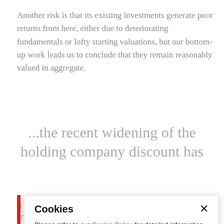Another risk is that its existing investments generate poor returns from here, either due to deteriorating fundamentals or lofty starting valuations, but our bottom-up work leads us to conclude that they remain reasonably valued in aggregate.
...the recent widening of the holding company discount has
are hard to handicap. Still, with the combination of
Cookies
Please refer to our Cookie Policy for detailed information on the cookies we use and the purposes for which we use them, all of which are essential for the operation of our website.